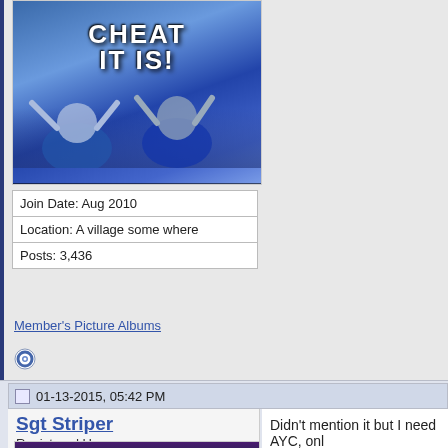[Figure (photo): Meme image with text 'CHEAT IT IS!' and caption 'Tom & Pats deflate Hawks']
| Join Date: Aug 2010 |
| Location: A village some where |
| Posts: 3,436 |
Member's Picture Albums
[Figure (other): Blue circular status indicator icon]
01-13-2015, 05:42 PM
Sgt Striper
Registered User
iTrader: (0)
[Figure (photo): Puppet/ventriloquist dummy with angry expression, wearing a navy vest with red bow tie]
Didn't mention it but I need AYC, onl
[Figure (photo): Partial image showing green and gold colored object, bottom right of page]